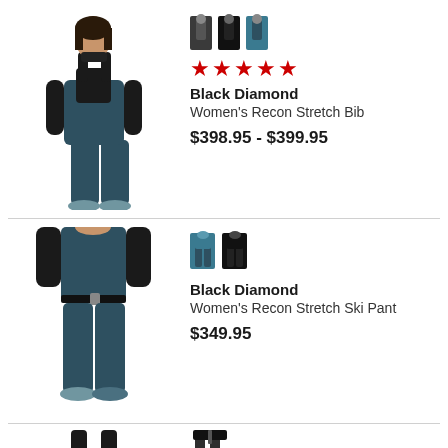[Figure (photo): Woman wearing Black Diamond Women's Recon Stretch Bib in teal/dark blue, full body view]
[Figure (illustration): Three color swatches showing bib in dark gray, black, and teal colorways]
★★★★★
Black Diamond
Women's Recon Stretch Bib
$398.95 - $399.95
[Figure (photo): Woman wearing Black Diamond Women's Recon Stretch Ski Pant in teal, lower body view]
[Figure (illustration): Two color swatches showing ski pant in teal and black colorways]
Black Diamond
Women's Recon Stretch Ski Pant
$349.95
[Figure (photo): Partial view of a third product, showing suspenders/straps at bottom of page]